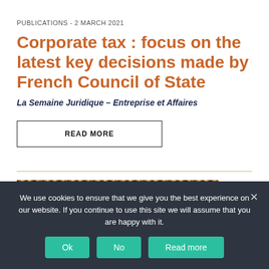PUBLICATIONS - 2 MARCH 2021
Corporate tax : focus on the latest key decisions made by French Council of State
La Semaine Juridique – Entreprise et Affaires
READ MORE
[Figure (photo): Decorative image strip with vertical color bars in brown and gold tones]
We use cookies to ensure that we give you the best experience on our website. If you continue to use this site we will assume that you are happy with it.